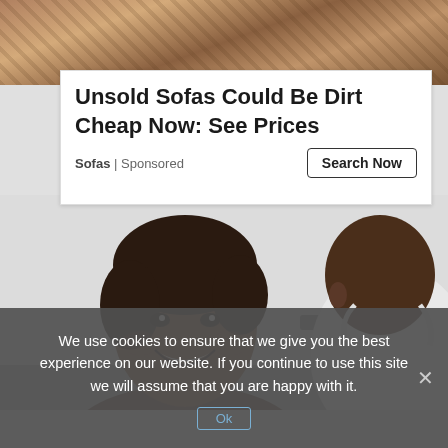[Figure (photo): Close-up photo of brown leather/fabric sofa texture at the top of the page]
Unsold Sofas Could Be Dirt Cheap Now: See Prices
Sofas | Sponsored
[Figure (photo): A smiling young Black woman in a dental/medical chair, with a dental professional wearing a mask visible in the right foreground]
We use cookies to ensure that we give you the best experience on our website. If you continue to use this site we will assume that you are happy with it.